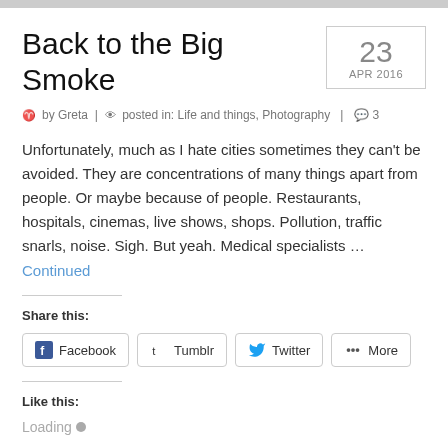Back to the Big Smoke
23 APR 2016
by Greta | posted in: Life and things, Photography | 3
Unfortunately, much as I hate cities sometimes they can't be avoided. They are concentrations of many things apart from people. Or maybe because of people. Restaurants, hospitals, cinemas, live shows, shops. Pollution, traffic snarls, noise. Sigh. But yeah. Medical specialists … Continued
Share this:
Facebook  Tumblr  Twitter  More
Like this:
Loading